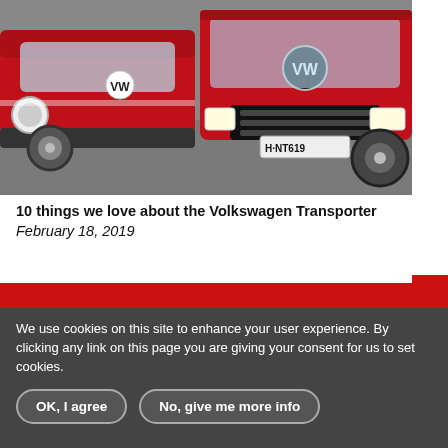[Figure (photo): Two red Volkswagen Transporter vans side by side, one vintage (left) and one modern (right) with license plate H·NT619, photographed from the front on a grey surface.]
10 things we love about the Volkswagen Transporter   February 18, 2019
[Figure (infographic): Red horizontal banner strip across the page width]
[Figure (infographic): Red vertical Help? tab on the right side]
[Figure (infographic): Social media icons row: YouTube, Facebook, Twitter, Pinterest — dark circle icons]
Join our mailing list
We use cookies on this site to enhance your user experience. By clicking any link on this page you are giving your consent for us to set cookies.
OK, I agree   No, give me more info